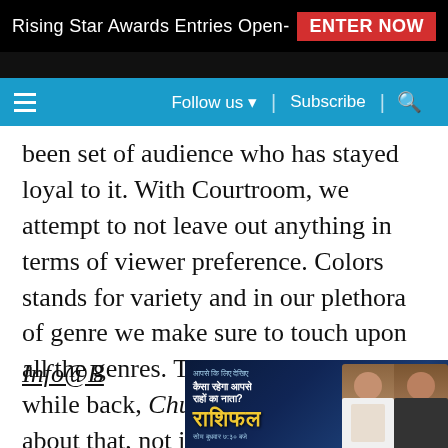Rising Star Awards Entries Open- ENTER NOW
Follow us ▼ | Subscribe | 🔍
been set of audience who has stayed loyal to it. With Courtroom, we attempt to not leave out anything in terms of viewer preference. Colors stands for variety and in our plethora of genre we make sure to touch upon all the genres. The campaign we did a while back, Chuno Apne Rang, was about that, not just choosing from the offering but leaving the dream that we are doing through our content.
Info@B
[Figure (advertisement): Indian TV show advertisement with Hindi text 'कैसा रहेगा आपसे राहों का नाता?' and stylized Hindi title 'राशिफल' with two male presenters on dark blue background]